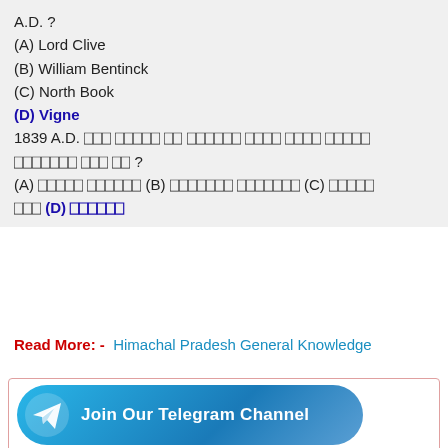A.D. ?
(A) Lord Clive
(B) William Bentinck
(C) North Book
(D) Vigne
1839 A.D. [Hindi text] ?
(A) [Hindi] (B) [Hindi] (C) [Hindi] (D) [Hindi]
Read More: -  Himachal Pradesh General Knowledge
[Figure (infographic): Join Our Telegram Channel button with Telegram logo icon and a purple scroll-to-top arrow button]
Join Our Telegram Group